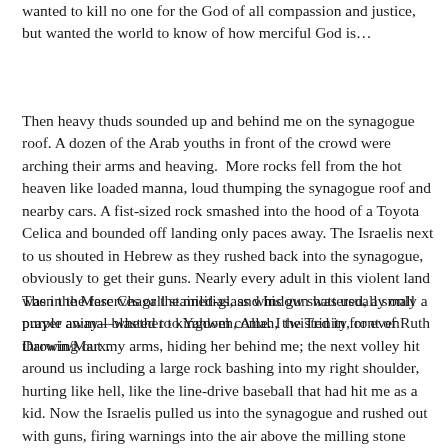wanted to kill no one for the God of all compassion and justice, but wanted the world to know of how merciful God is…
Then heavy thuds sounded up and behind me on the synagogue roof. A dozen of the Arab youths in front of the crowd were arching their arms and heaving.  More rocks fell from the hot heaven like loaded manna, loud thumping the synagogue roof and nearby cars. A fist-sized rock smashed into the hood of a Toyota Celica and bounded off landing only paces away. The Israelis next to us shouted in Hebrew as they rushed back into the synagogue, obviously to get their guns. Nearly every adult in this violent land was in the reserves or the militias, and his gun was usually only a prayer away—whether to Yahweh, Allah, the Trinity, or even Darwin/Marx.
Then the Marc Chagall stained-glass window shattered, a small purple animal blasted to kingdom come. I twisted in front of Ruth throwing out my arms, hiding her behind me; the next volley hit around us including a large rock bashing into my right shoulder,  hurting like hell, like the line-drive baseball that had hit me as a kid. Now the Israelis pulled us into the synagogue and rushed out with guns, firing warnings into the air above the milling stone throwers who kept up the yelling in Arabic